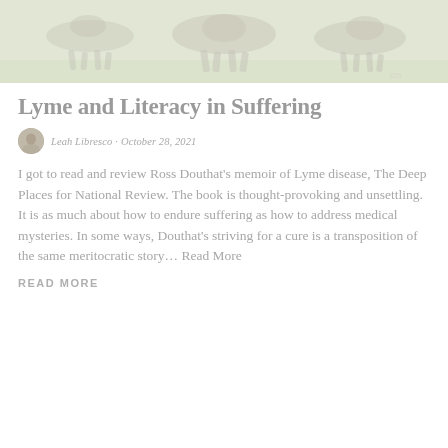[Figure (photo): Faded/washed-out photo of horses running on a field, used as hero image at the top of the article.]
Lyme and Literacy in Suffering
Leah Libresco · October 28, 2021
I got to read and review Ross Douthat's memoir of Lyme disease, The Deep Places for National Review. The book is thought-provoking and unsettling. It is as much about how to endure suffering as how to address medical mysteries. In some ways, Douthat's striving for a cure is a transposition of the same meritocratic story... Read More
READ MORE